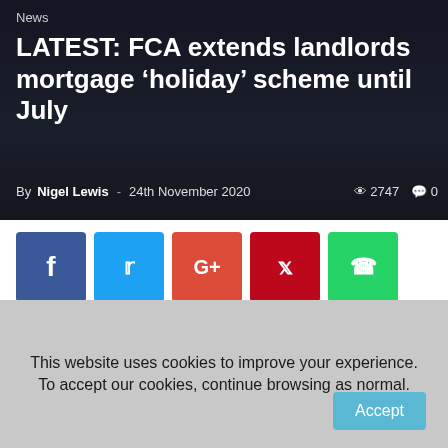News
LATEST: FCA extends landlords mortgage ‘holiday’ scheme until July
By Nigel Lewis - 24th November 2020   2747   0
[Figure (other): Social sharing buttons: Facebook, Twitter, Google+, Pinterest, WhatsApp]
Landlords seeking a new mortgage payment deferral or who want to extend an existing one have been given a new cut-off date for the scheme of July 2021.
This website uses cookies to improve your experience. To accept our cookies, continue browsing as normal.